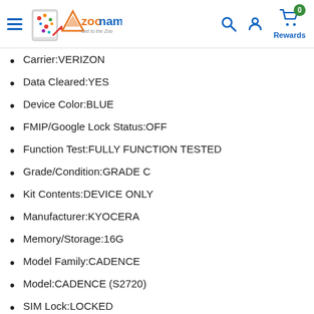Zoonama - Get to the Zoo [navigation header with logo, search, account, cart/rewards icons]
Carrier:VERIZON
Data Cleared:YES
Device Color:BLUE
FMIP/Google Lock Status:OFF
Function Test:FULLY FUNCTION TESTED
Grade/Condition:GRADE C
Kit Contents:DEVICE ONLY
Manufacturer:KYOCERA
Memory/Storage:16G
Model Family:CADENCE
Model:CADENCE (S2720)
SIM Lock:LOCKED
Payment & Security